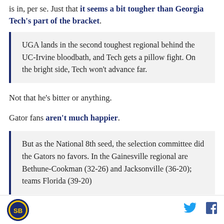is in, per se. Just that it seems a bit tougher than Georgia Tech's part of the bracket.
UGA lands in the second toughest regional behind the UC-Irvine bloodbath, and Tech gets a pillow fight. On the bright side, Tech won't advance far.
Not that he's bitter or anything.
Gator fans aren't much happier.
But as the National 8th seed, the selection committee did the Gators no favors. In the Gainesville regional are Bethune-Cookman (32-26) and Jacksonville (36-20); teams Florida (39-20)